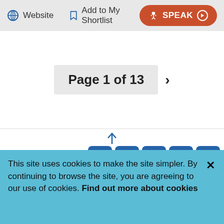Website | Add to My Shortlist | SPEAK
Page 1 of 13 >
Contact us
[Figure (other): Social media icons: YouTube, Facebook, Flickr, Twitter, LinkedIn]
Complaints   Privacy and cookies   Disclaimer
This site uses cookies to make the site simpler. By continuing to browse the site, you are agreeing to our use of cookies. Find out more about cookies